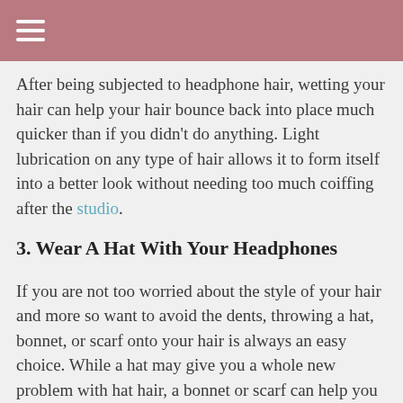≡
After being subjected to headphone hair, wetting your hair can help your hair bounce back into place much quicker than if you didn't do anything. Light lubrication on any type of hair allows it to form itself into a better look without needing too much coiffing after the studio.
3. Wear A Hat With Your Headphones
If you are not too worried about the style of your hair and more so want to avoid the dents, throwing a hat, bonnet, or scarf onto your hair is always an easy choice. While a hat may give you a whole new problem with hat hair, a bonnet or scarf can help you maintain a protective style.